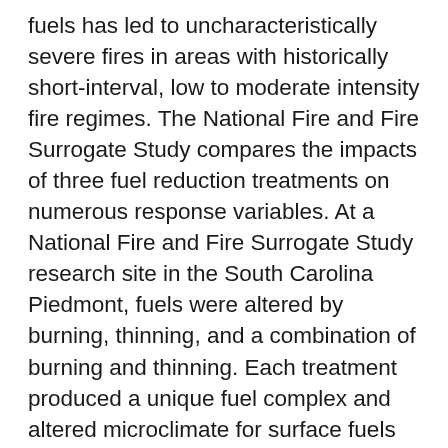fuels has led to uncharacteristically severe fires in areas with historically short-interval, low to moderate intensity fire regimes. The National Fire and Fire Surrogate Study compares the impacts of three fuel reduction treatments on numerous response variables. At a National Fire and Fire Surrogate Study research site in the South Carolina Piedmont, fuels were altered by burning, thinning, and a combination of burning and thinning. Each treatment produced a unique fuel complex and altered microclimate for surface fuels by opening the stands to wind and light. We designed the fuel-reduction treatments to minimize damage if a wildfire were to occur, but we found fire behavior in each treatment area difficult to predict. We evaluate wildfire behavior after the fuel-reduction treatments using the BehavePlus2 fire modeling system. Custom fuel models for each treatment were developed from inventories of the litter layer, dead woody fuels, and live fuels. Microclimate variables affected by each treatment were measured to capture temperature and th